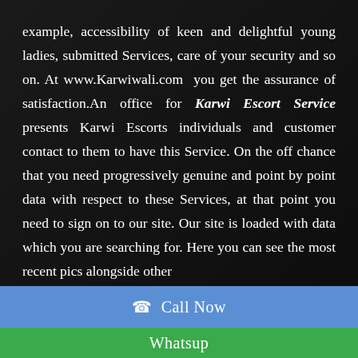example, accessibility of keen and delightful young ladies, submitted Services, care of your security and so on. At www.Karwiwali.com you get the assurance of satisfaction.An office for Karwi Escort Service presents Karwi Escorts individuals and customer contact to them to have this Service. On the off chance that you need progressively genuine and point by point data with respect to these Services, at that point you need to sign on to our site. Our site is loaded with data which you are searching for. Here you can see the most recent pics alongside other
☎  Call Now
Whatsup